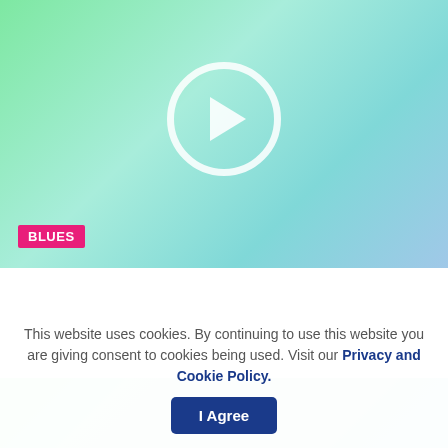[Figure (screenshot): Video thumbnail with green-to-teal gradient background, white play button circle in center, and pink 'BLUES' category tag at bottom left]
Candy chronicles
Candy chronicles 😊 ♥
[Figure (screenshot): Partial second video thumbnail with green-to-teal gradient]
This website uses cookies. By continuing to use this website you are giving consent to cookies being used. Visit our Privacy and Cookie Policy.